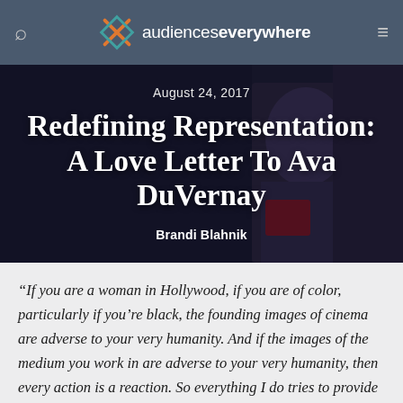audiences everywhere
August 24, 2017
Redefining Representation: A Love Letter To Ava DuVernay
Brandi Blahnik
“If you are a woman in Hollywood, if you are of color, particularly if you’re black, the founding images of cinema are adverse to your very humanity. And if the images of the medium you work in are adverse to your very humanity, then every action is a reaction. So everything I do tries to provide contrast. I try and pivot from the